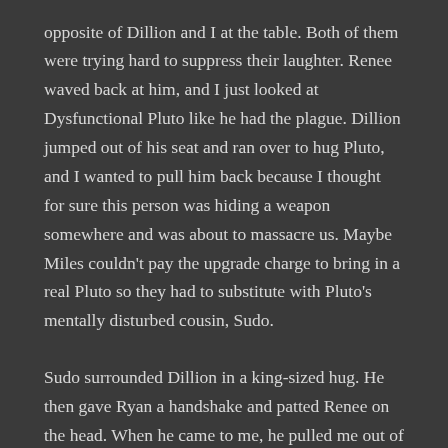opposite of Dillion and I at the table. Both of them were trying hard to suppress their laughter. Renee waved back at him, and I just looked at Dysfunctional Pluto like he had the plague. Dillion jumped out of his seat and ran over to hug Pluto, and I wanted to pull him back because I thought for sure this person was hiding a weapon somewhere and was about to massacre us. Maybe Miles couldn't pay the upgrade charge to bring in a real Pluto so they had to substitute with Pluto's mentally disturbed cousin, Sudo.
Sudo surrounded Dillion in a king-sized hug. He then gave Ryan a handshake and patted Renee on the head. When he came to me, he pulled me out of my chair. He took the long tongue that hung disturbingly out of his mask and made a huge slurping sound as he drew his plastic tongue up from my chin to the top of my head.
“Wow. Thanks, Pluto. That was sweet.” I patted him on the shoulder, but he wasn’t finished. He took his gloved paws and engulfed me in a hug and hooked one of his legs around mine.
He finally released me and signaled to Renee to take our picture. He